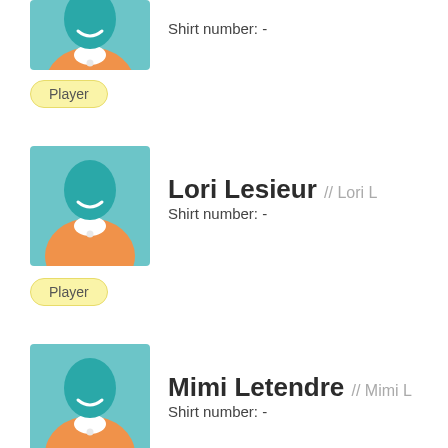[Figure (illustration): Generic player avatar with teal head and orange jersey, partially visible at top]
Shirt number: -
Player
[Figure (illustration): Generic player avatar with teal head and orange jersey for Lori Lesieur]
Lori Lesieur // Lori L
Shirt number: -
Player
[Figure (illustration): Generic player avatar with teal head and orange jersey for Mimi Letendre]
Mimi Letendre // Mimi L
Shirt number: -
Player
[Figure (photo): Photo of Lynn J Levesque, partially visible at bottom]
Lynn J Levesque // Lynn L